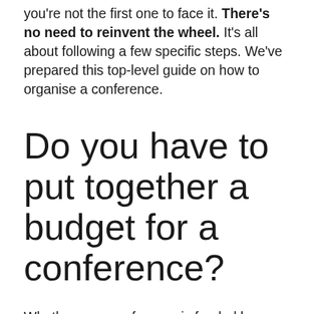you're not the first one to face it. There's no need to reinvent the wheel. It's all about following a few specific steps. We've prepared this top-level guide on how to organise a conference.
Do you have to put together a budget for a conference?
Whether your conference is funded by sponsors or not, you'll have to put together a budget. You need to know where your money is being earned and spent. Having a budget will also help you set the price for